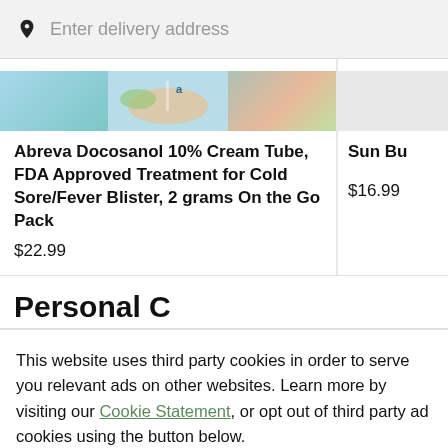Enter delivery address
Abreva Docosanol 10% Cream Tube, FDA Approved Treatment for Cold Sore/Fever Blister, 2 grams On the Go Pack
$22.99
Sun Bu
$16.99
This website uses third party cookies in order to serve you relevant ads on other websites. Learn more by visiting our Cookie Statement, or opt out of third party ad cookies using the button below.
OPT OUT
GOT IT